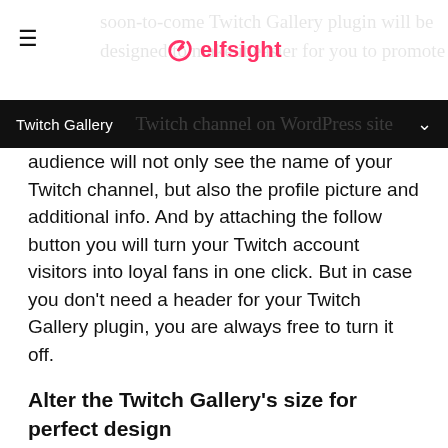elfsight
audience will not only see the name of your Twitch channel, but also the profile picture and additional info. And by attaching the follow button you will turn your Twitch account visitors into loyal fans in one click. But in case you don't need a header for your Twitch Gallery plugin, you are always free to turn it off.
Alter the Twitch Gallery's size for perfect design
Whatever the space requirements on your WordPress site are, we've made it possible for you